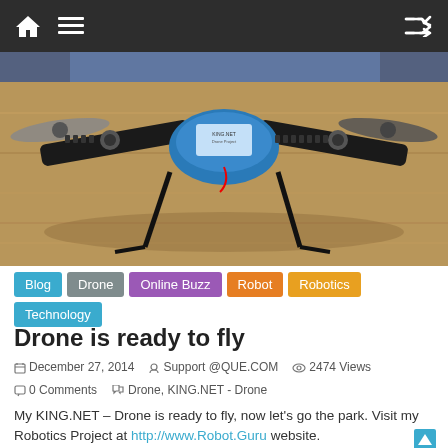Navigation bar with home icon, menu icon, shuffle icon
[Figure (photo): Close-up photo of a quadcopter drone on a wooden floor. The drone has black arms with white gear-like joints, blue central body with a sticker label, two visible propellers (one gray on the left, one darker on the right), and black landing legs standing on a wood-grain surface.]
Blog  Drone  Online Buzz  Robot  Robotics  Technology
Drone is ready to fly
December 27, 2014   Support @QUE.COM   2474 Views   0 Comments   Drone, KING.NET - Drone
My KING.NET – Drone is ready to fly, now let's go the park. Visit my Robotics Project at http://www.Robot.Guru website.